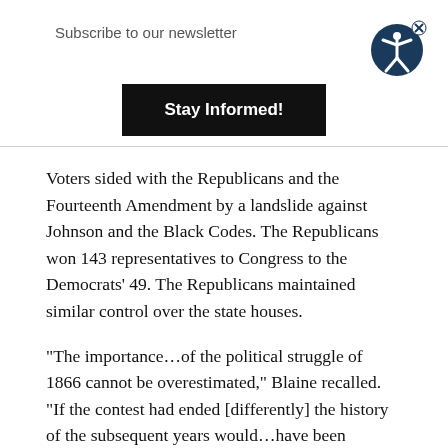Subscribe to our newsletter
[Figure (illustration): Accessibility icon: dark navy circle with white stick figure person and arms extended, with an X close button in the top right]
Stay Informed!
Voters sided with the Republicans and the Fourteenth Amendment by a landslide against Johnson and the Black Codes. The Republicans won 143 representatives to Congress to the Democrats’ 49. The Republicans maintained similar control over the state houses.
“The importance…of the political struggle of 1866 cannot be overestimated,” Blaine recalled. “If the contest had ended [differently] the history of the subsequent years would…have been radically different. There would have been no further amendment to the Constitution,” and southern legislators would “sustain all the State laws already passed for the practical re-enslavement” of